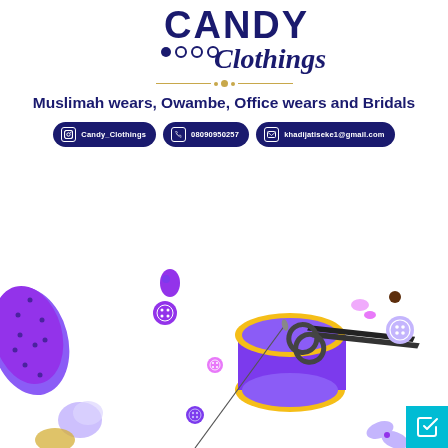[Figure (logo): Candy Clothings logo in dark blue with dots and cursive text]
Muslimah wears, Owambe, Office wears and Bridals
Candy_Clothings | 08090950257 | khadijatiseke1@gmail.com
[Figure (photo): Sewing items including purple fabric roll, thread spool, purple buttons, scissors, and decorative elements on white background]